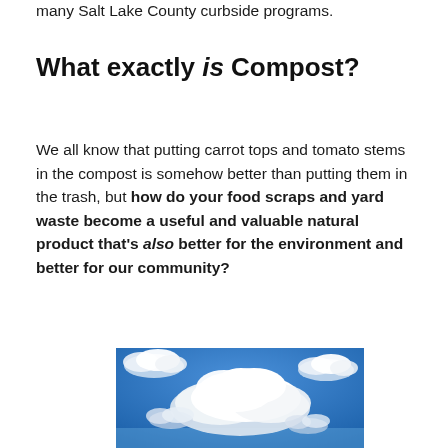many Salt Lake County curbside programs.
What exactly is Compost?
We all know that putting carrot tops and tomato stems in the compost is somehow better than putting them in the trash, but how do your food scraps and yard waste become a useful and valuable natural product that's also better for the environment and better for our community?
[Figure (photo): Blue sky with white cumulus clouds]